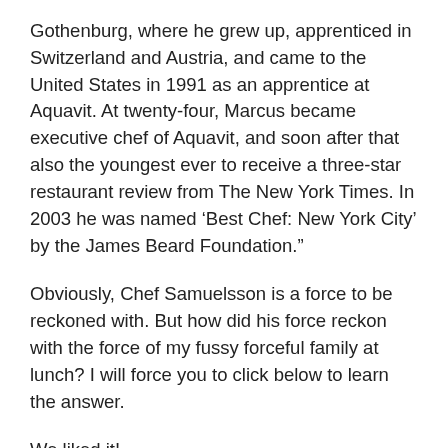Gothenburg, where he grew up, apprenticed in Switzerland and Austria, and came to the United States in 1991 as an apprentice at Aquavit. At twenty-four, Marcus became executive chef of Aquavit, and soon after that also the youngest ever to receive a three-star restaurant review from The New York Times. In 2003 he was named ‘Best Chef: New York City’ by the James Beard Foundation.”
Obviously, Chef Samuelsson is a force to be reckoned with. But how did his force reckon with the force of my fussy forceful family at lunch? I will force you to click below to learn the answer.
We liked it!
THE END